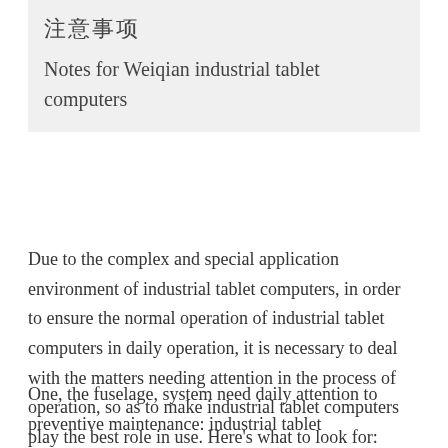注意事项
Notes for Weiqian industrial tablet computers
Due to the complex and special application environment of industrial tablet computers, in order to ensure the normal operation of industrial tablet computers in daily operation, it is necessary to deal with the matters needing attention in the process of operation, so as to make industrial tablet computers play the best role in use. Here's what to look for:
One, the fuselage, system need daily attention to preventive maintenance: industrial tablet computers to maintain normal operation to: